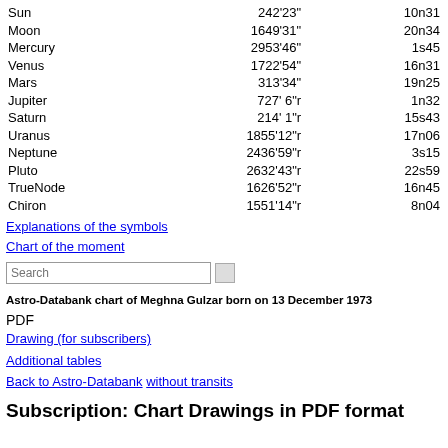| Body | Position | Dec |
| --- | --- | --- |
| Sun | 242'23" | 10n31 |
| Moon | 1649'31" | 20n34 |
| Mercury | 2953'46" | 1s45 |
| Venus | 1722'54" | 16n31 |
| Mars | 313'34" | 19n25 |
| Jupiter | 727' 6"r | 1n32 |
| Saturn | 214' 1"r | 15s43 |
| Uranus | 1855'12"r | 17n06 |
| Neptune | 2436'59"r | 3s15 |
| Pluto | 2632'43"r | 22s59 |
| TrueNode | 1626'52"r | 16n45 |
| Chiron | 1551'14"r | 8n04 |
Explanations of the symbols
Chart of the moment
Astro-Databank chart of Meghna Gulzar born on 13 December 1973
PDF
Drawing (for subscribers)
Additional tables
Back to Astro-Databank without transits
Subscription: Chart Drawings in PDF format